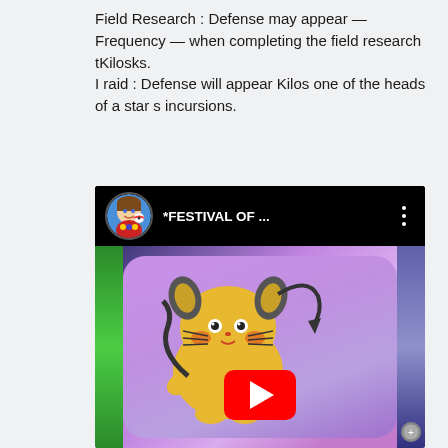Field Research : Defense may appear — Frequency — when completing the field research tKilosks.
I raid : Defense will appear Kilos one of the heads of a star s incursions.
[Figure (screenshot): YouTube video thumbnail showing a Pokemon GO video titled '*FESTIVAL OF ...' with a Dedenne Pokemon on a purple/pink background with a YouTube play button overlay. Channel avatar shows a cartoon character holding a Pokeball.]